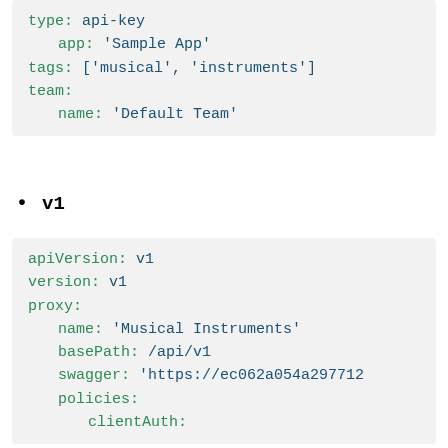type: api-key
    app: 'Sample App'
tags: ['musical', 'instruments']
team:
    name: 'Default Team'
v1
apiVersion: v1
version: v1
proxy:
    name: 'Musical Instruments'
    basePath: /api/v1
    swagger: 'https://ec062a054a297712...
    policies:
        clientAuth: